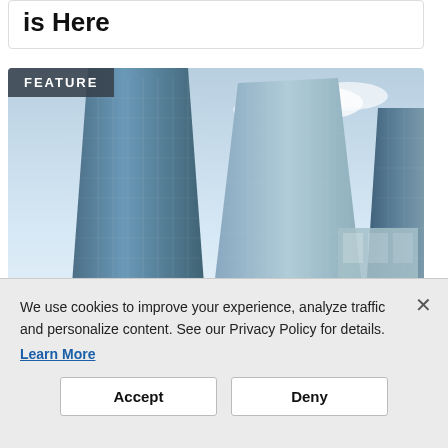is Here
[Figure (photo): Upward-looking view of tall glass skyscrapers against a partly cloudy sky, with a FEATURE label badge in the top-left corner.]
We use cookies to improve your experience, analyze traffic and personalize content. See our Privacy Policy for details.
Learn More
Accept
Deny